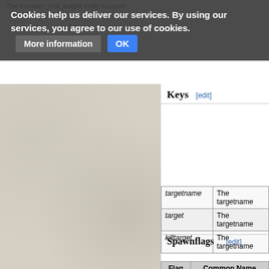Cookies help us deliver our services. By using our services, you agree to our use of cookies. More information OK
Keys [edit]
| (key) | (description) |
| --- | --- |
| targetname | The targetname |
| target | The targetname |
| killtarget | The targetname |
Spawnflags [edit]
The monster_hell_knight entity support
| Flag | Common Name |
| --- | --- |